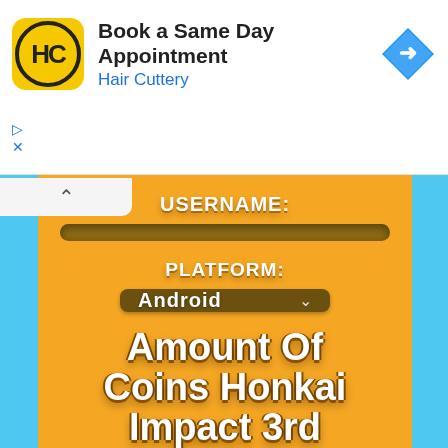[Figure (screenshot): Hair Cuttery advertisement banner: logo (HC in circle on yellow background), text 'Book a Same Day Appointment' and 'Hair Cuttery' in blue, blue diamond arrow icon on right. Play and close (X) controls on left.]
[Figure (screenshot): Mobile game UI on orange/yellow background with sky blue side borders. Shows form with 'Username:' label and input field, 'Platform:' label with 'Android' dropdown selector, and large text reading 'Amount of coins Honkai Impact 3rd']